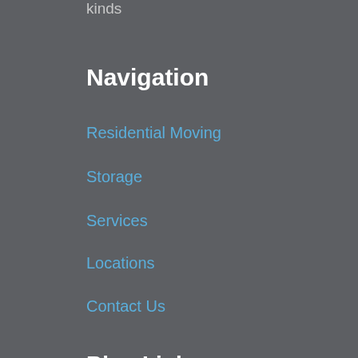kinds
Navigation
Residential Moving
Storage
Services
Locations
Contact Us
Blog Links
4 Popular Self-Storage Facilities Located Near You
2022-08-31
[Figure (photo): Street sign showing 'Ventura B' and '300' on a dark blue sign background with a blue post]
What Are Some Of The